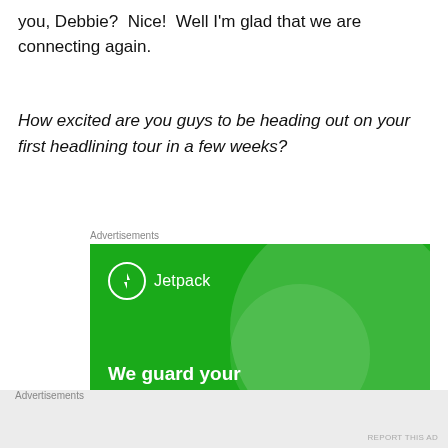you, Debbie?  Nice!  Well I'm glad that we are connecting again.
How excited are you guys to be heading out on your first headlining tour in a few weeks?
Advertisements
[Figure (other): Jetpack advertisement banner with green background showing logo, text 'We guard your WordPress site. You run your business.' and a 'Secure Your Site' button.]
Advertisements